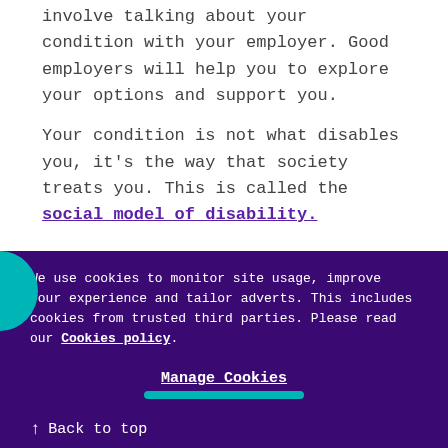involve talking about your condition with your employer. Good employers will help you to explore your options and support you.
Your condition is not what disables you, it's the way that society treats you. This is called the social model of disability.
We use cookies to monitor site usage, improve your experience and tailor adverts. This includes cookies from trusted third parties. Please read our Cookies policy.
Manage Cookies
↑ Back to top